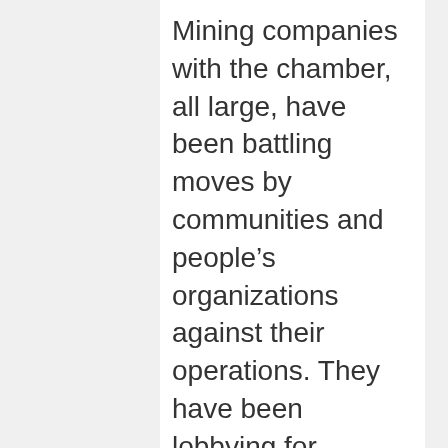Mining companies with the chamber, all large, have been battling moves by communities and people's organizations against their operations. They have been lobbying for government support and incentives, and they are actively campaigning against the mining ban as well as legislative moves to replace the Philippine Mining Act of 1995, a law the chamber describes as “world class and at par” with other